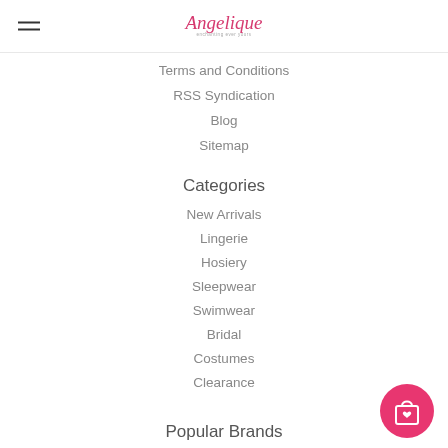[Figure (logo): Angelique script logo in pink with tagline beneath]
Terms and Conditions
RSS Syndication
Blog
Sitemap
Categories
New Arrivals
Lingerie
Hosiery
Sleepwear
Swimwear
Bridal
Costumes
Clearance
Popular Brands
[Figure (illustration): Pink circular shopping bag with heart icon button]